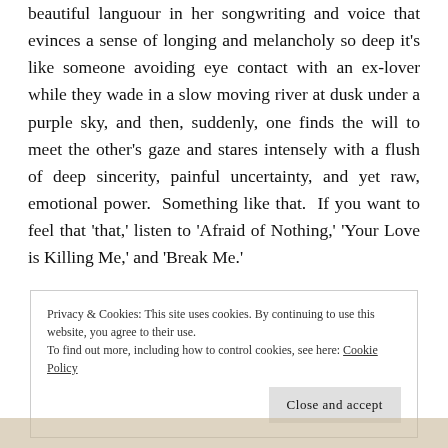beautiful languour in her songwriting and voice that evinces a sense of longing and melancholy so deep it's like someone avoiding eye contact with an ex-lover while they wade in a slow moving river at dusk under a purple sky, and then, suddenly, one finds the will to meet the other's gaze and stares intensely with a flush of deep sincerity, painful uncertainty, and yet raw, emotional power. Something like that. If you want to feel that 'that,' listen to 'Afraid of Nothing,' 'Your Love is Killing Me,' and 'Break Me.'
Privacy & Cookies: This site uses cookies. By continuing to use this website, you agree to their use.
To find out more, including how to control cookies, see here: Cookie Policy
Close and accept